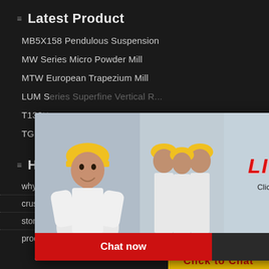≡  Latest Product
MB5X158 Pendulous Suspension
MW Series Micro Powder Mill
MTW European Trapezium Mill
LUM Series Superfine Vertical Roller...
T130X...
TGM...
[Figure (screenshot): Live Chat popup overlay with person in hard hat, LIVE CHAT title in red italic, 'Click for a Free Consultation' subtitle, Chat now (red) and Chat later (dark) buttons]
≡  Hot Case
why cone crusher is known as gyratory type of crusher
crusher plant foreman vacancies in salalah
stone stone crushing machineryharbor freight
product size iron orebasalt jourdan basalt qua...
[Figure (screenshot): Right panel with orange background showing industrial machinery images, 'Enjoy 3% discount', 'Click to Chat' in yellow/red, 'Enquiry' button, 'limingjlmofen@sina.com' contact]